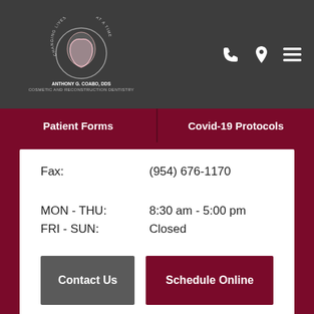[Figure (logo): Anthony G. Coabo, DDS dental practice logo with tooth graphic and tagline 'Changing Lives One Smile at a Time']
Patient Forms
Covid-19 Protocols
Fax: (954) 676-1170
MON - THU: 8:30 am - 5:00 pm
FRI - SUN: Closed
Contact Us
Schedule Online
G LIVES ONE SMILE A